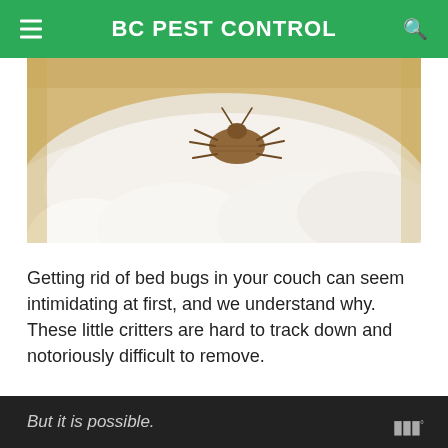BC PEST CONTROL
[Figure (photo): Close-up photo of a bed bug on white fabric/mattress material with yellowish background]
Getting rid of bed bugs in your couch can seem intimidating at first, and we understand why. These little critters are hard to track down and notoriously difficult to remove.
But it is possible.